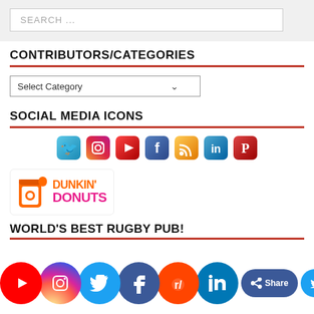SEARCH ...
CONTRIBUTORS/CATEGORIES
Select Category
SOCIAL MEDIA ICONS
[Figure (illustration): Row of 3D social media icons: Twitter, Instagram, YouTube, Facebook, RSS, LinkedIn, Pinterest]
[Figure (logo): Dunkin' Donuts logo with orange cup and pink/orange text]
WORLD'S BEST RUGBY PUB!
[Figure (infographic): Bottom social media sharing bar with YouTube, Instagram, Twitter, Facebook, Reddit, LinkedIn bubbles, Share and Tweet buttons, and partial images of rugby bar and globe]